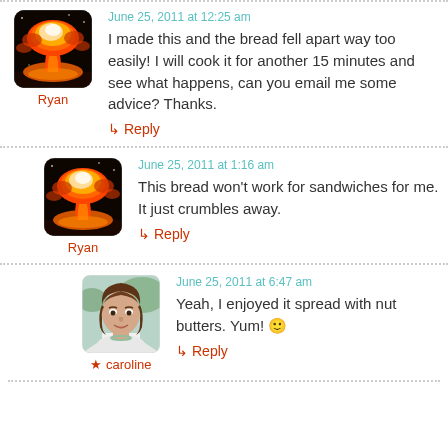[Figure (photo): Avatar image of Ryan showing a nuclear mushroom cloud explosion, rounded corners]
Ryan
June 25, 2011 at 12:25 am
I made this and the bread fell apart way too easily! I will cook it for another 15 minutes and see what happens, can you email me some advice? Thanks.
↳ Reply
[Figure (photo): Avatar image of Ryan showing a nuclear mushroom cloud explosion, rounded corners]
Ryan
June 25, 2011 at 1:16 am
This bread won't work for sandwiches for me. It just crumbles away.
↳ Reply
[Figure (photo): Avatar photo of caroline, a woman with brown hair, smiling, wearing a white top and necklace]
★ caroline
June 25, 2011 at 6:47 am
Yeah, I enjoyed it spread with nut butters. Yum! 🙂
↳ Reply